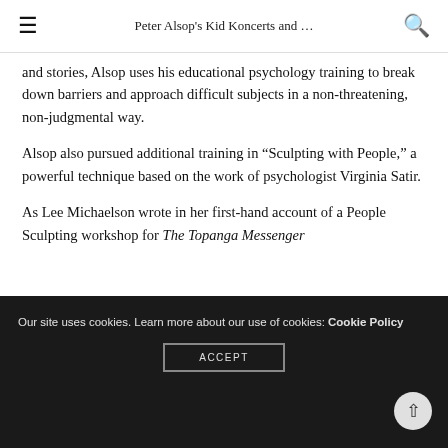Peter Alsop's Kid Koncerts and ...
and stories, Alsop uses his educational psychology training to break down barriers and approach difficult subjects in a non-threatening, non-judgmental way.
Alsop also pursued additional training in “Sculpting with People,” a powerful technique based on the work of psychologist Virginia Satir.
As Lee Michaelson wrote in her first-hand account of a People Sculpting workshop for The Topanga Messenger
Our site uses cookies. Learn more about our use of cookies: Cookie Policy